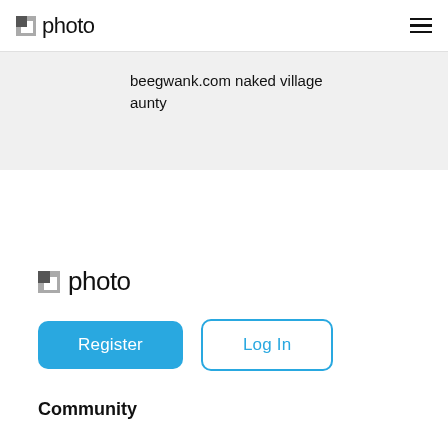photo
beegwank.com naked village aunty
[Figure (logo): photo logo with square icon and text]
Register
Log In
Community